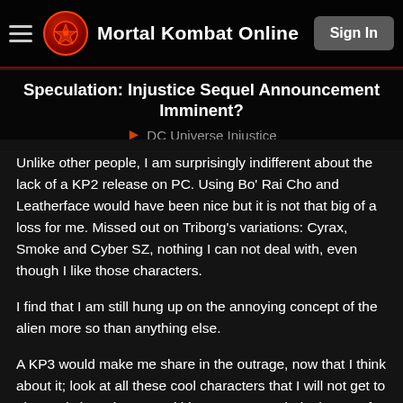Mortal Kombat Online | Sign In
Speculation: Injustice Sequel Announcement Imminent?
DC Universe Injustice
Unlike other people, I am surprisingly indifferent about the lack of a KP2 release on PC. Using Bo' Rai Cho and Leatherface would have been nice but it is not that big of a loss for me. Missed out on Triborg's variations: Cyrax, Smoke and Cyber SZ, nothing I can not deal with, even though I like those characters.
I find that I am still hung up on the annoying concept of the alien more so than anything else.
A KP3 would make me share in the outrage, now that I think about it; look at all these cool characters that I will not get to play and since they are within MKX's KP3, their chances for a roster inclusion in the next MK game is reduced